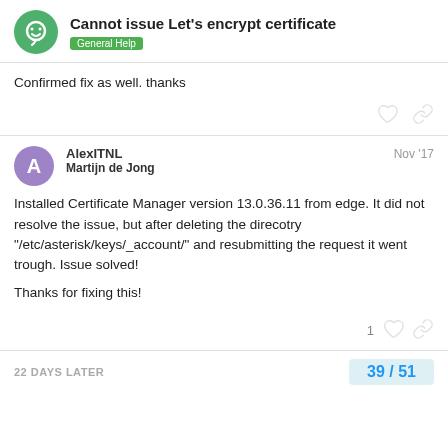Cannot issue Let's encrypt certificate — General Help
Confirmed fix as well. thanks
AlexITNL Nov '17
Martijn de Jong
Installed Certificate Manager version 13.0.36.11 from edge. It did not resolve the issue, but after deleting the direcotry "/etc/asterisk/keys/_account/" and resubmitting the request it went trough. Issue solved!

Thanks for fixing this!
22 DAYS LATER
39 / 51